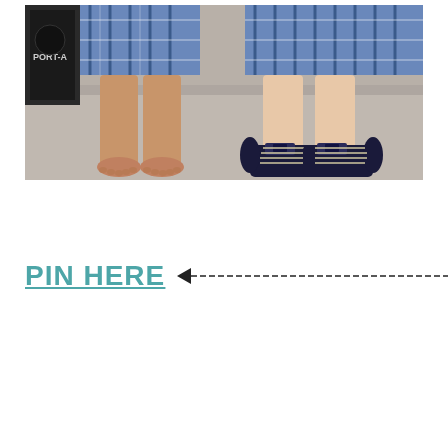[Figure (photo): Two children standing side by side, showing only their legs and feet. The child on the left is barefoot wearing blue plaid shorts, standing on a concrete surface. The child on the right is wearing dark navy sneakers with white laces and blue plaid shorts. A black speaker or equipment box is visible on the left edge.]
PIN HERE <——————————————-